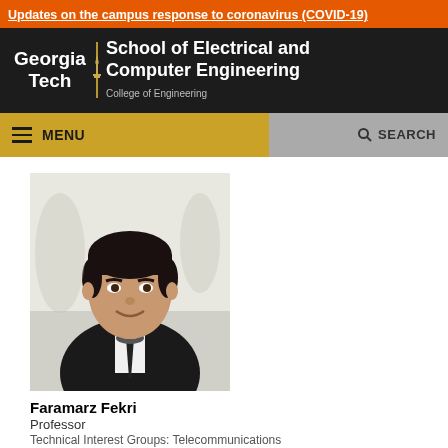Updates on the campus response to coronavirus (COVID-19)
[Figure (logo): Georgia Tech School of Electrical and Computer Engineering, College of Engineering logo with torch emblem on dark background]
MENU | SEARCH navigation bar
[Figure (photo): Headshot of Faramarz Fekri, a man in a dark suit and patterned tie, smiling, against a light background]
Faramarz Fekri
Professor
Technical Interest Groups: Telecommunications